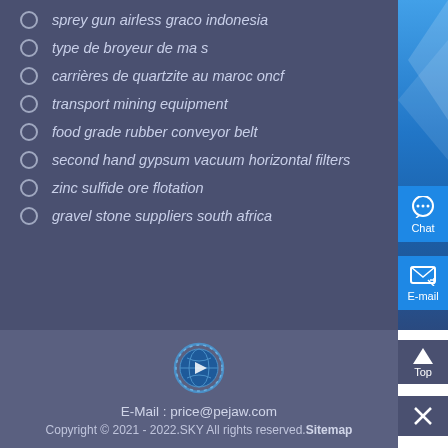sprey gun airless graco indonesia
type de broyeur de ma s
carrières de quartzite au maroc oncf
transport mining equipment
food grade rubber conveyor belt
second hand gypsum vacuum horizontal filters
zinc sulfide ore flotation
gravel stone suppliers south africa
E-Mail : price@pejaw.com
Copyright © 2021 - 2022.SKY All rights reserved.Sitemap